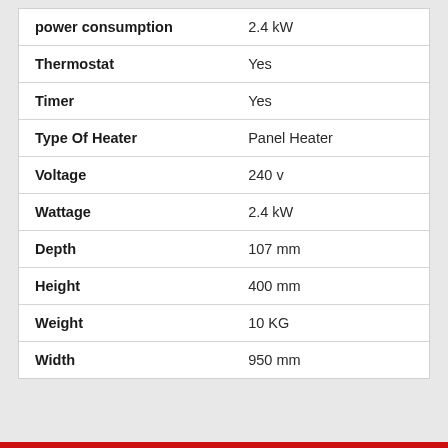| Specification | Value |
| --- | --- |
| power consumption | 2.4 kW |
| Thermostat | Yes |
| Timer | Yes |
| Type Of Heater | Panel Heater |
| Voltage | 240 v |
| Wattage | 2.4 kW |
| Depth | 107 mm |
| Height | 400 mm |
| Weight | 10 KG |
| Width | 950 mm |